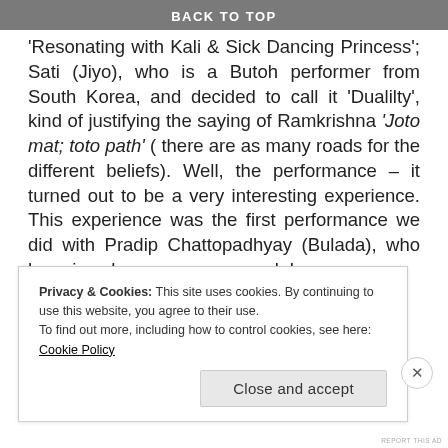BACK TO TOP
'Resonating with Kali & Sick Dancing Princess'; Sati (Jiyo), who is a Butoh performer from South Korea, and decided to call it 'Dualilty', kind of justifying the saying of Ramkrishna 'Joto mat; toto path' ( there are as many roads for the different beliefs). Well, the performance – it turned out to be a very interesting experience. This experience was the first performance we did with Pradip Chattopadhyay (Bulada), who has since become a core monk !
[Figure (other): Red advertisement banner bar]
REPORT THIS AD
Privacy & Cookies: This site uses cookies. By continuing to use this website, you agree to their use.
To find out more, including how to control cookies, see here: Cookie Policy
Close and accept